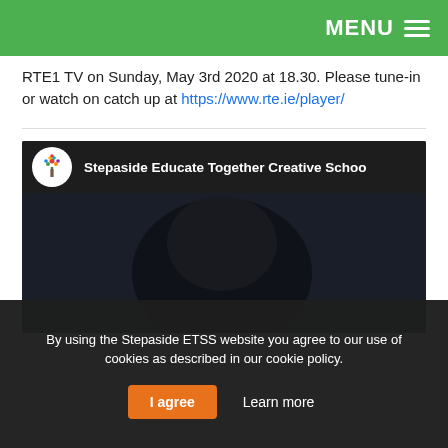MENU
RTE1 TV on Sunday, May 3rd 2020 at 18.30. Please tune-in or watch on catch up at https://www.rte.ie/player/
[Figure (screenshot): YouTube video thumbnail showing a woman's face in dark lighting with YouTube play button overlay. Video title: 'Stepaside Educate Together Creative Schoo...' with circular school logo.]
By using the Stepaside ETSS website you agree to our use of cookies as described in our cookie policy.
I agree    Learn more